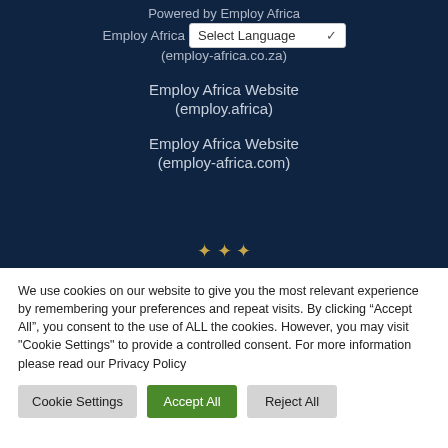Powered by Employ Africa
Employ Africa Select Language
(employ-africa.co.za)
Employ Africa Website
(employ.africa)
Employ Africa Website
(employ-africa.com)
We use cookies on our website to give you the most relevant experience by remembering your preferences and repeat visits. By clicking “Accept All”, you consent to the use of ALL the cookies. However, you may visit "Cookie Settings" to provide a controlled consent. For more information please read our Privacy Policy